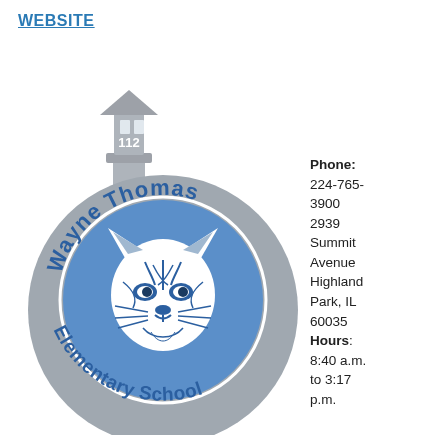WEBSITE
[Figure (logo): Wayne Thomas Elementary School circular logo with lynx mascot and lighthouse, grey and blue colors, number 112 on lighthouse]
Phone: 224-765-3900
2939 Summit Avenue
Highland Park, IL 60035
Hours: 8:40 a.m. to 3:17 p.m.